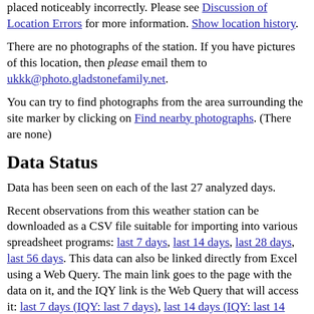placed noticeably incorrectly. Please see Discussion of Location Errors for more information. Show location history.
There are no photographs of the station. If you have pictures of this location, then please email them to ukkk@photo.gladstonefamily.net.
You can try to find photographs from the area surrounding the site marker by clicking on Find nearby photographs. (There are none)
Data Status
Data has been seen on each of the last 27 analyzed days.
Recent observations from this weather station can be downloaded as a CSV file suitable for importing into various spreadsheet programs: last 7 days, last 14 days, last 28 days, last 56 days. This data can also be linked directly from Excel using a Web Query. The main link goes to the page with the data on it, and the IQY link is the Web Query that will access it: last 7 days (IQY: last 7 days), last 14 days (IQY: last 14 days), last 28 days (IQY: last 28 days), last 56 days (IQY: last 56 days).
All the means and standard deviations shown below are from the last 28 days. Change analysis period to Last 3 days Last 7 days Last 14 days Last 28 days Last 42 days Last 56 days